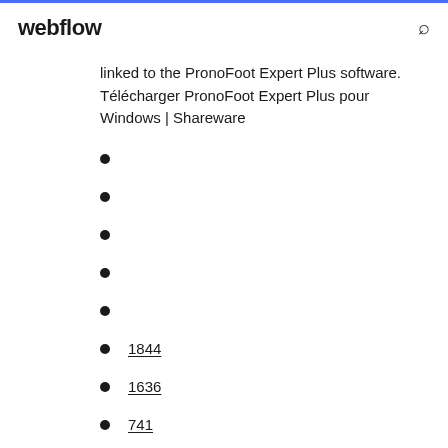webflow
linked to the PronoFoot Expert Plus software. Télécharger PronoFoot Expert Plus pour Windows | Shareware
1844
1636
741
1402